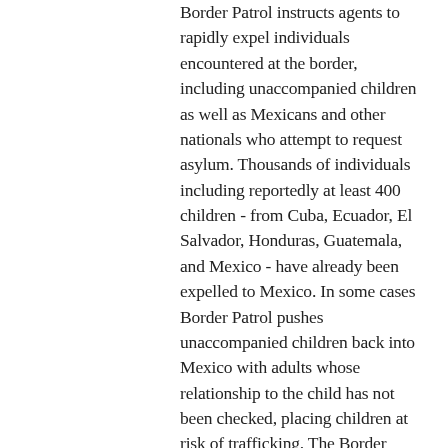Border Patrol instructs agents to rapidly expel individuals encountered at the border, including unaccompanied children as well as Mexicans and other nationals who attempt to request asylum. Thousands of individuals including reportedly at least 400 children - from Cuba, Ecuador, El Salvador, Honduras, Guatemala, and Mexico - have already been expelled to Mexico. In some cases Border Patrol pushes unaccompanied children back into Mexico with adults whose relationship to the child has not been checked, placing children at risk of trafficking. The Border Patrol turns back some in the middle of the night in dangerous areas, putting them at even greater risk of kidnapping and assault.